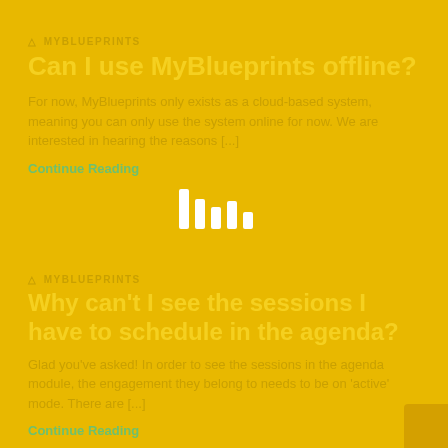MYBLUEPRINTS
Can I use MyBlueprints offline?
For now, MyBlueprints only exists as a cloud-based system, meaning you can only use the system online for now. We are interested in hearing the reasons [...]
Continue Reading
[Figure (other): Loading spinner icon with vertical white bars of varying heights on yellow background]
MYBLUEPRINTS
Why can’t I see the sessions I have to schedule in the agenda?
Glad you’ve asked! In order to see the sessions in the agenda module, the engagement they belong to needs to be on ‘active’ mode. There are [...]
Continue Reading